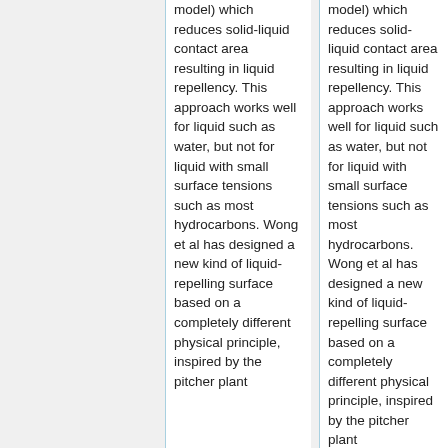model) which reduces solid-liquid contact area resulting in liquid repellency. This approach works well for liquid such as water, but not for liquid with small surface tensions such as most hydrocarbons. Wong et al has designed a new kind of liquid-repelling surface based on a completely different physical principle, inspired by the pitcher plant
model) which reduces solid-liquid contact area resulting in liquid repellency. This approach works well for liquid such as water, but not for liquid with small surface tensions such as most hydrocarbons. Wong et al has designed a new kind of liquid-repelling surface based on a completely different physical principle, inspired by the pitcher plant